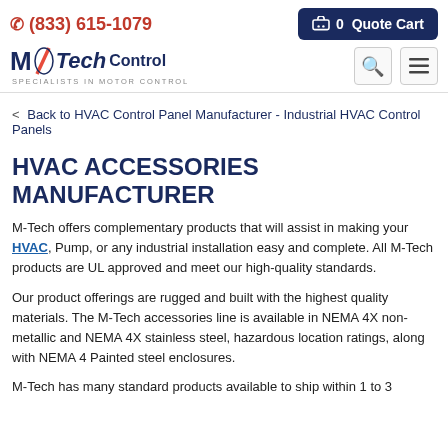(833) 615-1079  |  0 Quote Cart
[Figure (logo): M-Tech Control logo with lightning bolt, tagline: SPECIALISTS IN MOTOR CONTROL]
< Back to HVAC Control Panel Manufacturer - Industrial HVAC Control Panels
HVAC ACCESSORIES MANUFACTURER
M-Tech offers complementary products that will assist in making your HVAC, Pump, or any industrial installation easy and complete. All M-Tech products are UL approved and meet our high-quality standards.
Our product offerings are rugged and built with the highest quality materials. The M-Tech accessories line is available in NEMA 4X non-metallic and NEMA 4X stainless steel, hazardous location ratings, along with NEMA 4 Painted steel enclosures.
M-Tech has many standard products available to ship within 1 to 3